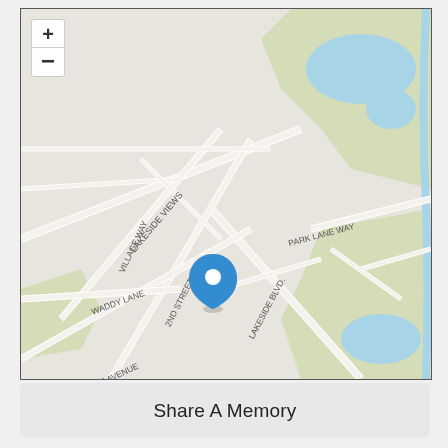[Figure (map): Street map showing Lakeside Blvd, Lakeside Views, Park Lane Way, Village Way, 2nd Street, Waddy Lane, 1st Avenue roads, with blue location pin marker in center, zoom +/- controls top-left, water bodies (lakes) visible in upper right and lower right, green park areas]
Share A Memory